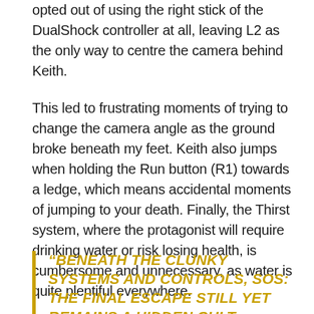opted out of using the right stick of the DualShock controller at all, leaving L2 as the only way to centre the camera behind Keith.
This led to frustrating moments of trying to change the camera angle as the ground broke beneath my feet. Keith also jumps when holding the Run button (R1) towards a ledge, which means accidental moments of jumping to your death. Finally, the Thirst system, where the protagonist will require drinking water or risk losing health, is cumbersome and unnecessary, as water is quite plentiful everywhere.
“BENEATH THE CLUNKY SYSTEMS AND CONTROLS, SOS: THE FINAL ESCAPE STILL YET REMAINS A HIDDEN CULT CLASSIC”